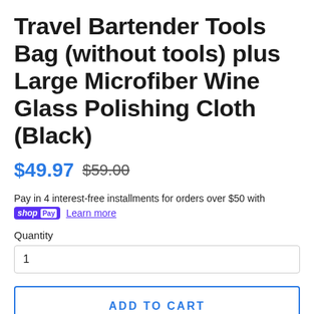Travel Bartender Tools Bag (without tools) plus Large Microfiber Wine Glass Polishing Cloth (Black)
$49.97  $59.00
Pay in 4 interest-free installments for orders over $50 with
shop Pay  Learn more
Quantity
1
ADD TO CART